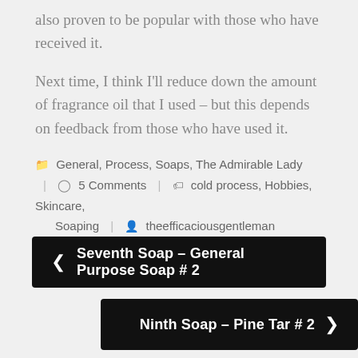also proven to be popular with those who have received it.
Next time, I think I'll reduce down the amount of fragrance oil that I used – but this depends on feedback from those who have used it.
General, Process, Soaps, The Admirable Lady | 5 Comments | cold process, Hobbies, Skincare, Soaping | theefficaciousgentleman
Seventh Soap – General Purpose Soap # 2
Ninth Soap – Pine Tar # 2